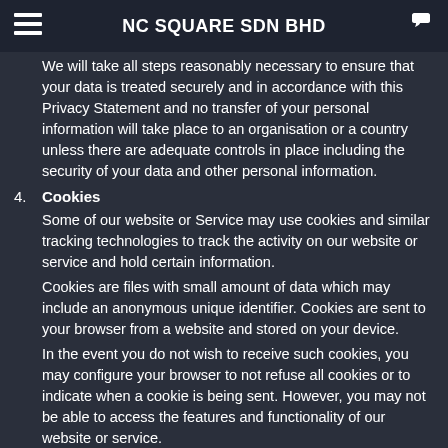NC SQUARE SDN BHD
We will take all steps reasonably necessary to ensure that your data is treated securely and in accordance with this Privacy Statement and no transfer of your personal information will take place to an organisation or a country unless there are adequate controls in place including the security of your data and other personal information.
4. Cookies
Some of our website or Service may use cookies and similar tracking technologies to track the activity on our website or service and hold certain information.
Cookies are files with small amount of data which may include an anonymous unique identifier. Cookies are sent to your browser from a website and stored on your device.
In the event you do not wish to receive such cookies, you may configure your browser to not refuse all cookies or to indicate when a cookie is being sent. However, you may not be able to access the features and functionality of our website or service.
5. Security of Processing
We will process your Personal Data securely and will apply and